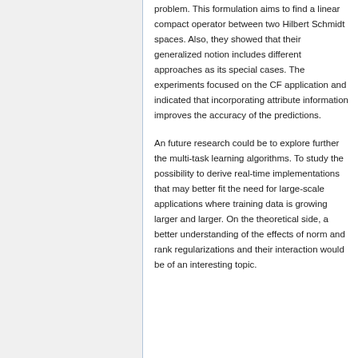problem. This formulation aims to find a linear compact operator between two Hilbert Schmidt spaces. Also, they showed that their generalized notion includes different approaches as its special cases. The experiments focused on the CF application and indicated that incorporating attribute information improves the accuracy of the predictions.
An future research could be to explore further the multi-task learning algorithms. To study the possibility to derive real-time implementations that may better fit the need for large-scale applications where training data is growing larger and larger. On the theoretical side, a better understanding of the effects of norm and rank regularizations and their interaction would be of an interesting topic.